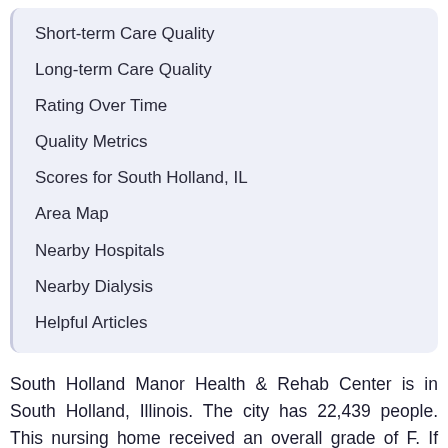Short-term Care Quality
Long-term Care Quality
Rating Over Time
Quality Metrics
Scores for South Holland, IL
Area Map
Nearby Hospitals
Nearby Dialysis
Helpful Articles
South Holland Manor Health & Rehab Center is in South Holland, Illinois. The city has 22,439 people. This nursing home received an overall grade of F. If you are not satisfied with this facility's low overall grade, you may find you have slim pickings in South